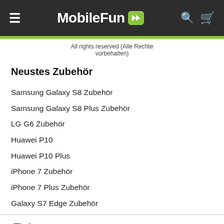MobileFun
All rights reserved (Alle Rechte vorbehalten)
Neustes Zubehör
Samsung Galaxy S8 Zubehör
Samsung Galaxy S8 Plus Zubehör
LG G6 Zubehör
Huawei P10
Huawei P10 Plus
iPhone 7 Zubehör
iPhone 7 Plus Zubehör
Galaxy S7 Edge Zubehör
🇺🇸 Looks like you're in United States...
SHOP THERE
DISMISS